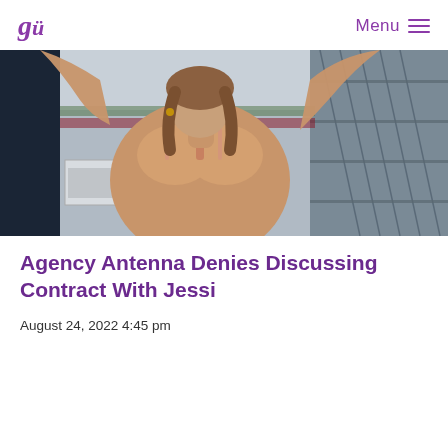gm Menu
[Figure (photo): Woman in a beige/nude bikini top with arms raised, posed against an outdoor venue with scaffolding and stadium structures in the background.]
Agency Antenna Denies Discussing Contract With Jessi
August 24, 2022 4:45 pm